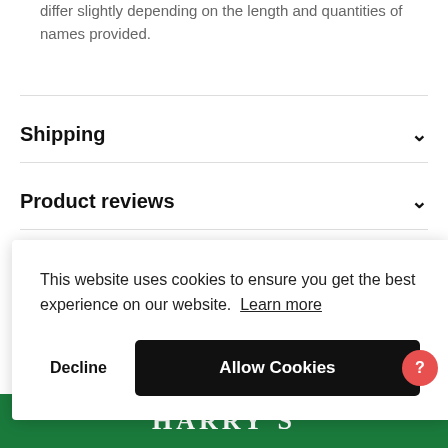differ slightly depending on the length and quantities of names provided.
Shipping
Product reviews
This website uses cookies to ensure you get the best experience on our website. Learn more
Decline
Allow Cookies
[Figure (logo): Harry's brand logo in white text on green background]